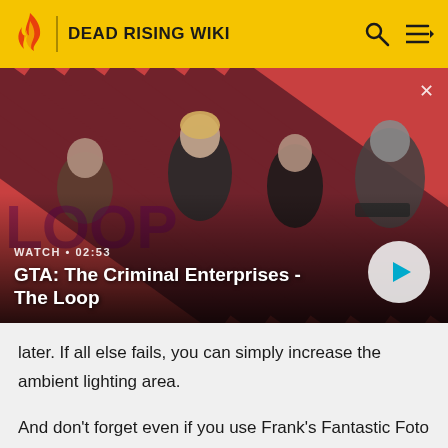DEAD RISING WIKI
[Figure (screenshot): GTA: The Criminal Enterprises - The Loop video thumbnail with diagonal red and black striped background showing game characters. Overlay shows WATCH • 02:53 label and play button.]
GTA: The Criminal Enterprises - The Loop
later. If all else fails, you can simply increase the ambient lighting area.
And don't forget even if you use Frank's Fantastic Foto Facts to go down to the corner store and snag your very